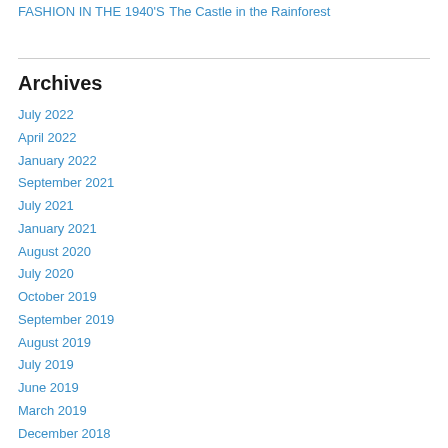FASHION IN THE 1940'S
The Castle in the Rainforest
Archives
July 2022
April 2022
January 2022
September 2021
July 2021
January 2021
August 2020
July 2020
October 2019
September 2019
August 2019
July 2019
June 2019
March 2019
December 2018